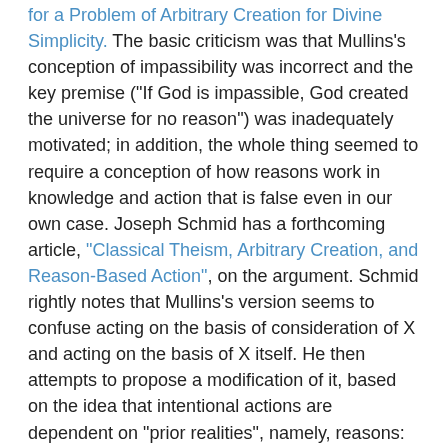for a Problem of Arbitrary Creation for Divine Simplicity. The basic criticism was that Mullins's conception of impassibility was incorrect and the key premise ("If God is impassible, God created the universe for no reason") was inadequately motivated; in addition, the whole thing seemed to require a conception of how reasons work in knowledge and action that is false even in our own case. Joseph Schmid has a forthcoming article, "Classical Theism, Arbitrary Creation, and Reason-Based Action", on the argument. Schmid rightly notes that Mullins's version seems to confuse acting on the basis of consideration of X and acting on the basis of X itself. He then attempts to propose a modification of it, based on the idea that intentional actions are dependent on "prior realities", namely, reasons:
1. God's act of creation is an intentional action (if only analogously so).
2. Intentional actions are dependent on one or more reasons.
3. So, God's act of creation is dependent on one or more reasons. (1, 2)